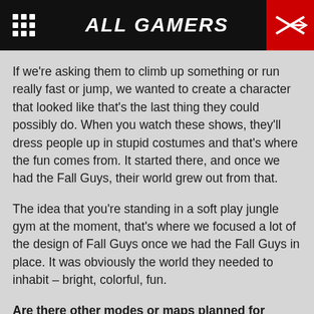ALL GAMERS
If we're asking them to climb up something or run really fast or jump, we wanted to create a character that looked like that's the last thing they could possibly do. When you watch these shows, they'll dress people up in stupid costumes and that's where the fun comes from. It started there, and once we had the Fall Guys, their world grew out from that.
The idea that you're standing in a soft play jungle gym at the moment, that's where we focused a lot of the design of Fall Guys once we had the Fall Guys in place. It was obviously the world they needed to inhabit – bright, colorful, fun.
Are there other modes or maps planned for launch?
Jeff: One of the nice things about Fall Guys is the idea